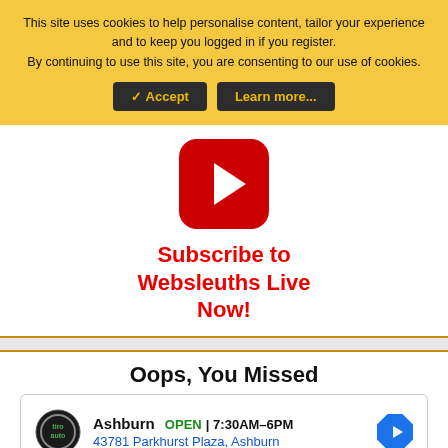This site uses cookies to help personalise content, tailor your experience and to keep you logged in if you register.
By continuing to use this site, you are consenting to our use of cookies.
✓ Accept | Learn more...
[Figure (logo): YouTube play button icon (red rounded square with white triangle)]
Subscribe to Websleuths Live Now!
Oops, You Missed
[Figure (infographic): Advertisement box: Tiro Auto logo, Ashburn OPEN 7:30AM-6PM, 43781 Parkhurst Plaza, Ashburn, navigation arrow icon, play and close icons]